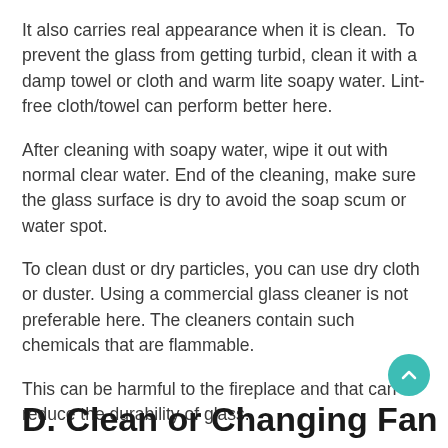It also carries real appearance when it is clean.  To prevent the glass from getting turbid, clean it with a damp towel or cloth and warm lite soapy water. Lint-free cloth/towel can perform better here.
After cleaning with soapy water, wipe it out with normal clear water. End of the cleaning, make sure the glass surface is dry to avoid the soap scum or water spot.
To clean dust or dry particles, you can use dry cloth or duster. Using a commercial glass cleaner is not preferable here. The cleaners contain such chemicals that are flammable.
This can be harmful to the fireplace and that can reduce the durability of glass.
D. Clean or Changing Fan